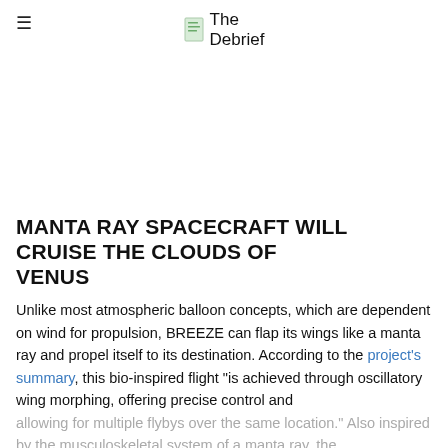The Debrief
[Figure (other): Large image placeholder area (article image, mostly white/blank in this view)]
MANTA RAY SPACECRAFT WILL CRUISE THE CLOUDS OF VENUS
Unlike most atmospheric balloon concepts, which are dependent on wind for propulsion, BREEZE can flap its wings like a manta ray and propel itself to its destination. According to the project's summary, this bio-inspired flight "is achieved through oscillatory wing morphing, offering precise control and allowing for multiple flybys over the same location." Also inspired by the musculoskeletal system of a manta ray, the